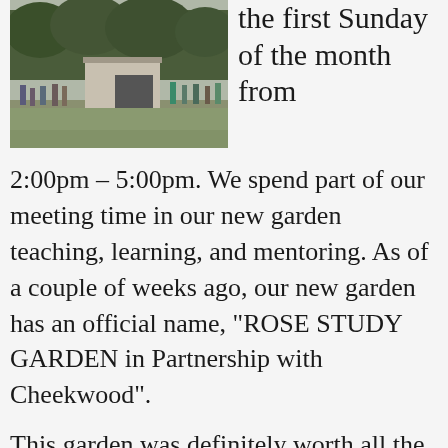[Figure (photo): Outdoor garden scene with people gathered near a small building/shed, trees in background, overcast day.]
the first Sunday of the month from 2:00pm – 5:00pm. We spend part of our meeting time in our new garden teaching, learning, and mentoring. As of a couple of weeks ago, our new garden has an official name, “ROSE STUDY GARDEN in Partnership with Cheekwood”.
This garden was definitely worth all the planning and work. It has given us a sense of community. It has renewed our goal to share the love of roses with others. It has given us a